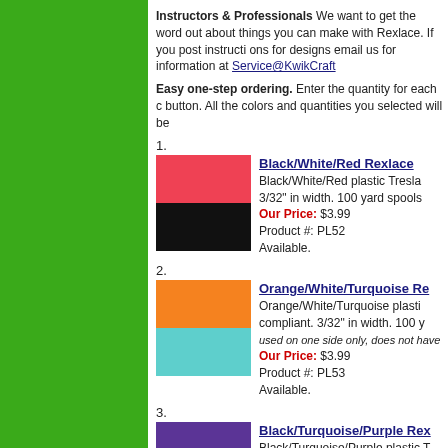Instructors & Professionals We want to get the word out about things you can make with Rexlace. If you post instructions for designs email us for information at Service@KwikCraft
Easy one-step ordering. Enter the quantity for each color and click the Add to Cart button. All the colors and quantities you selected will be added to your cart.
1.
[Figure (photo): Red color swatch and black color swatch for Black/White/Red Rexlace product]
Black/White/Red Rexlace - Black/White/Red plastic Treslace. 3/32" in width. 100 yard spools. Our Price: $3.99 Product #: PL52 Available.
2.
[Figure (photo): Orange color swatch and turquoise color swatch for Orange/White/Turquoise Rexlace product]
Orange/White/Turquoise Rexlace - Orange/White/Turquoise plastic, compliant. 3/32" in width. 100 y... used on one side only, does not have... Our Price: $3.99 Product #: PL53 Available.
3.
[Figure (photo): Purple and teal color swatches for Black/Turquoise/Purple Rexlace product]
Black/Turquoise/Purple Rexlace - Black/Turquoise/Purple plastic, compliant. 3/32" in width. 100 y... Our Price: $3.99 Product #: PL54